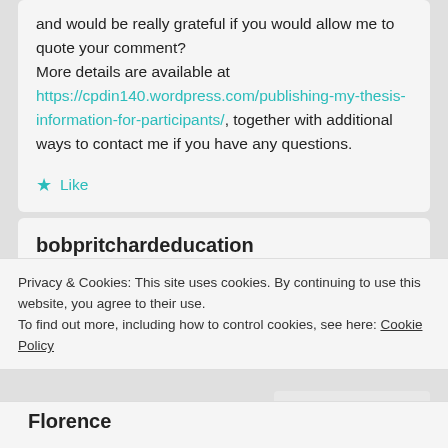and would be really grateful if you would allow me to quote your comment? More details are available at https://cpdin140.wordpress.com/publishing-my-thesis-information-for-participants/, together with additional ways to contact me if you have any questions.
★ Like
bobpritchardeducation
September 26, 2016 at 7:23 pm
Reblogged this on Bob Pritchard and commented:
Privacy & Cookies: This site uses cookies. By continuing to use this website, you agree to their use.
To find out more, including how to control cookies, see here: Cookie Policy
Close and accept
Florence